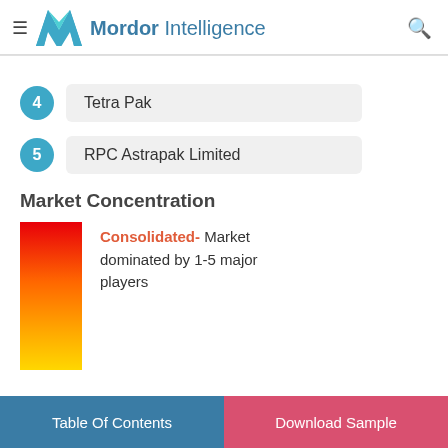Mordor Intelligence
4  Tetra Pak
5  RPC Astrapak Limited
Market Concentration
Consolidated- Market dominated by 1-5 major players
Table Of Contents  |  Download Sample